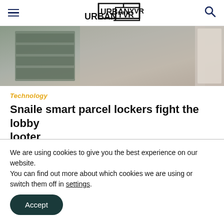Urban YVR
[Figure (photo): Interior photo of a hallway or room with grey cabinet drawers and tile flooring]
Technology
Snaile smart parcel lockers fight the lobby looter
Multi-residential properties are
We are using cookies to give you the best experience on our website.
You can find out more about which cookies we are using or switch them off in settings.
Accept